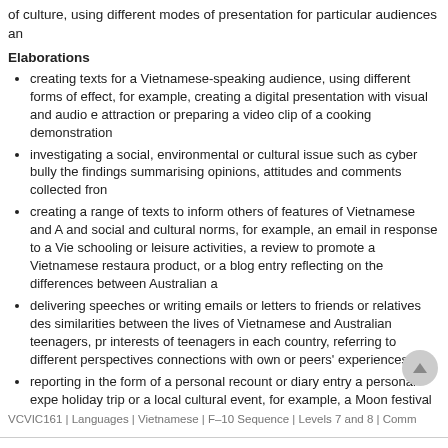of culture, using different modes of presentation for particular audiences an
Elaborations
creating texts for a Vietnamese-speaking audience, using different forms of effect, for example, creating a digital presentation with visual and audio e attraction or preparing a video clip of a cooking demonstration
investigating a social, environmental or cultural issue such as cyber bully the findings summarising opinions, attitudes and comments collected fron
creating a range of texts to inform others of features of Vietnamese and A and social and cultural norms, for example, an email in response to a Vie schooling or leisure activities, a review to promote a Vietnamese restaura product, or a blog entry reflecting on the differences between Australian a
delivering speeches or writing emails or letters to friends or relatives des similarities between the lives of Vietnamese and Australian teenagers, pr interests of teenagers in each country, referring to different perspectives connections with own or peers' experiences
reporting in the form of a personal recount or diary entry a personal expe holiday trip or a local cultural event, for example, a Moon festival
VCVIC161 | Languages | Vietnamese | F–10 Sequence | Levels 7 and 8 | Comm
VCVIU171
Understand how language use differs between spoken and written texts, an and the purpose and mode of delivery